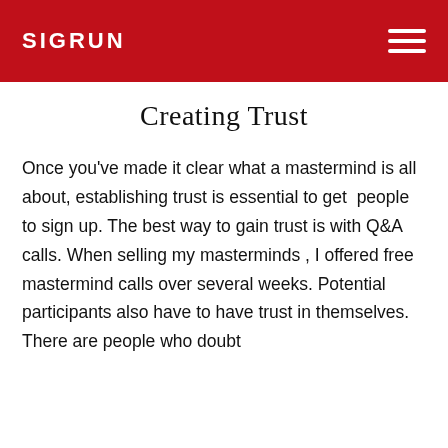SIGRUN
Creating Trust
Once you've made it clear what a mastermind is all about, establishing trust is essential to get people to sign up. The best way to gain trust is with Q&A calls. When selling my masterminds , I offered free mastermind calls over several weeks. Potential participants also have to have trust in themselves. There are people who doubt